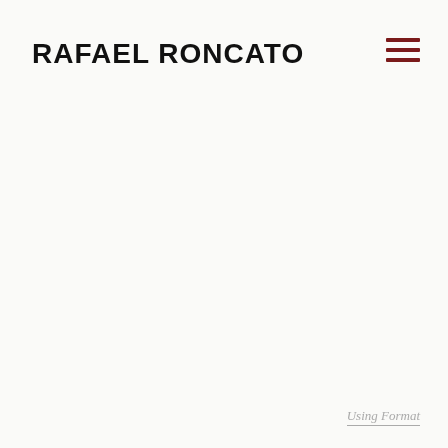RAFAEL RONCATO
[Figure (other): Hamburger menu icon — three horizontal dark red lines stacked vertically, positioned in the top-right corner]
Using Format